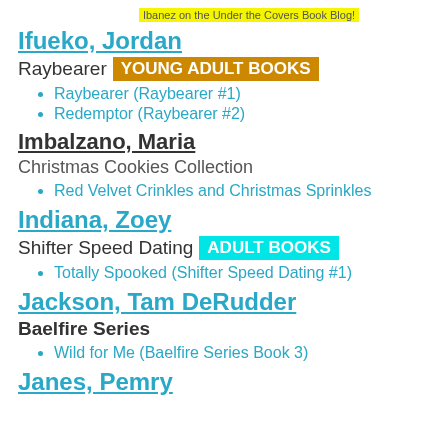Ibanez on the Under the Covers Book Blog!
Ifueko, Jordan
Raybearer YOUNG ADULT BOOKS
Raybearer (Raybearer #1)
Redemptor (Raybearer #2)
Imbalzano, Maria
Christmas Cookies Collection
Red Velvet Crinkles and Christmas Sprinkles
Indiana, Zoey
Shifter Speed Dating ADULT BOOKS
Totally Spooked (Shifter Speed Dating #1)
Jackson, Tam DeRudder
Baelfire Series
Wild for Me (Baelfire Series Book 3)
Janes, Pemry